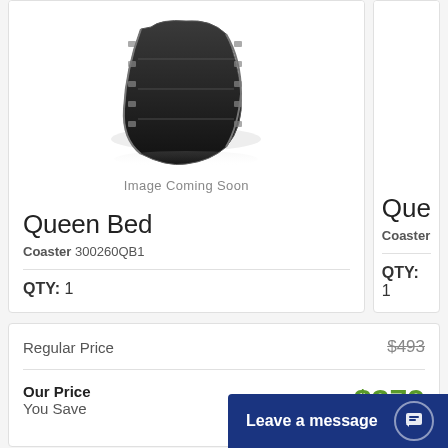[Figure (photo): Film strip placeholder image labeled 'Image Coming Soon']
Image Coming Soon
Queen Bed
Coaster 300260QB1
QTY: 1
Queen
Coaster :
QTY: 1
|  |  |
| --- | --- |
| Regular Price | $493 |
| Our Price | $379 |
| You Save | $114 |
Enter Zip Code *
Leave a message